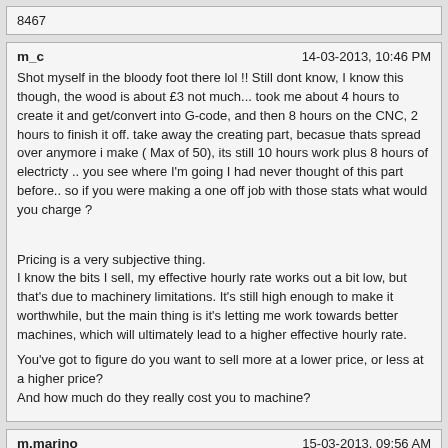8467
m_c	14-03-2013, 10:46 PM
Shot myself in the bloody foot there lol !! Still dont know, I know this though, the wood is about £3 not much... took me about 4 hours to create it and get/convert into G-code, and then 8 hours on the CNC, 2 hours to finish it off. take away the creating part, becasue thats spread over anymore i make ( Max of 50), its still 10 hours work plus 8 hours of electricty .. you see where I'm going I had never thought of this part before.. so if you were making a one off job with those stats what would you charge ?

Pricing is a very subjective thing.
I know the bits I sell, my effective hourly rate works out a bit low, but that's due to machinery limitations. It's still high enough to make it worthwhile, but the main thing is it's letting me work towards better machines, which will ultimately lead to a higher effective hourly rate.

You've got to figure do you want to sell more at a lower price, or less at a higher price?
And how much do they really cost you to machine?
m.marino	15-03-2013, 09:56 AM
Fivetide,

I have sent a PM with my cell number, give me a call and will chat as we have and are going through the same issue and I will gladly let you know what we put in our formula to figure pricing and you might have some ideas that help us as well. It is difficult to figure the price as there is a lot that goes into it.

Michael